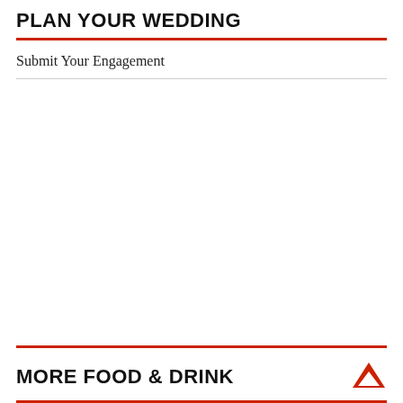PLAN YOUR WEDDING
Submit Your Engagement
MORE FOOD & DRINK